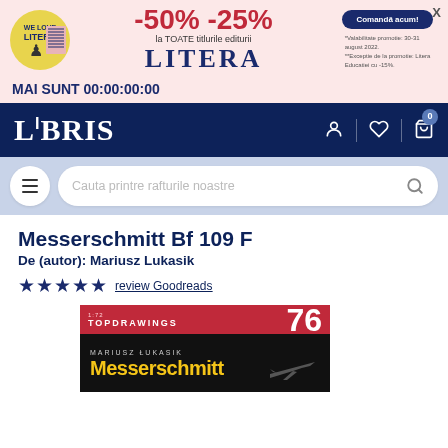[Figure (screenshot): Litera publisher promotional banner with -50% -25% discount on all titles, with logo, order button, and countdown timer showing MAI SUNT 00:00:00:00]
LIBRIS website navigation bar with logo and icons
[Figure (screenshot): Search bar area with hamburger menu and search input placeholder 'Cauta printre rafturile noastre']
Messerschmitt Bf 109 F
De (autor): Mariusz Lukasik
★★★★★ review Goodreads
[Figure (photo): Book cover of Messerschmitt Bf 109 F by Mariusz Lukasik, TopDrawings series number 76, with red top band and black background showing title in yellow]